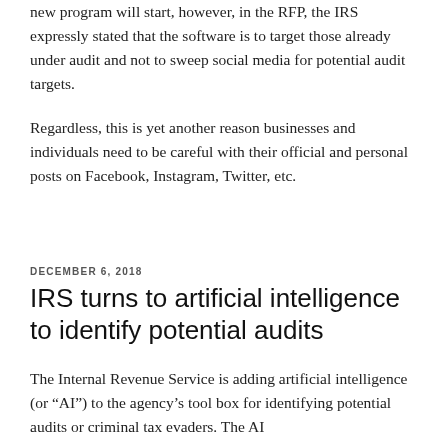new program will start, however, in the RFP, the IRS expressly stated that the software is to target those already under audit and not to sweep social media for potential audit targets.
Regardless, this is yet another reason businesses and individuals need to be careful with their official and personal posts on Facebook, Instagram, Twitter, etc.
DECEMBER 6, 2018
IRS turns to artificial intelligence to identify potential audits
The Internal Revenue Service is adding artificial intelligence (or “AI”) to the agency’s tool box for identifying potential audits or criminal tax evaders. The AI